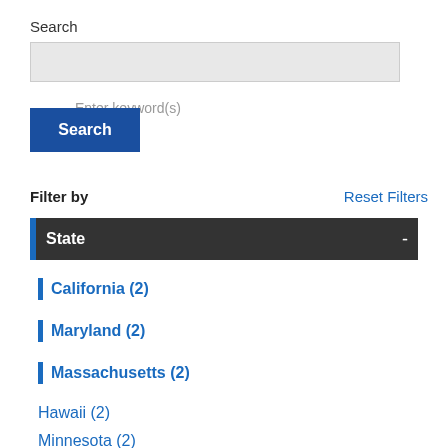Search
Enter keyword(s)
Search
Filter by
Reset Filters
State
California (2)
Maryland (2)
Massachusetts (2)
Hawaii (2)
Minnesota (2)